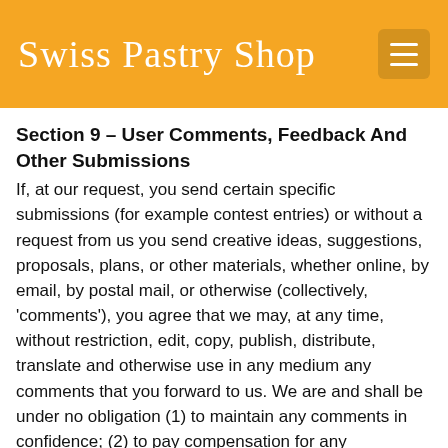Swiss Pastry Shop
Section 9 – User Comments, Feedback And Other Submissions
If, at our request, you send certain specific submissions (for example contest entries) or without a request from us you send creative ideas, suggestions, proposals, plans, or other materials, whether online, by email, by postal mail, or otherwise (collectively, 'comments'), you agree that we may, at any time, without restriction, edit, copy, publish, distribute, translate and otherwise use in any medium any comments that you forward to us. We are and shall be under no obligation (1) to maintain any comments in confidence; (2) to pay compensation for any comments; or (3) to respond to any comments.
We may, but have no obligation to, monitor, edit or remove content that we determine in our sole discretion are unlawful